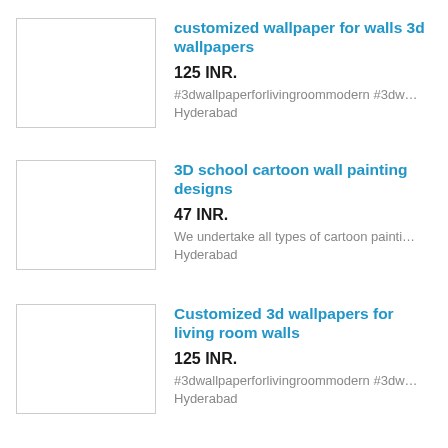customized wallpaper for walls 3d wallpapers
125 INR.
#3dwallpaperforlivingroommodern #3dw…
Hyderabad
3D school cartoon wall painting designs
47 INR.
We undertake all types of cartoon painti…
Hyderabad
Customized 3d wallpapers for living room walls
125 INR.
#3dwallpaperforlivingroommodern #3dw…
Hyderabad